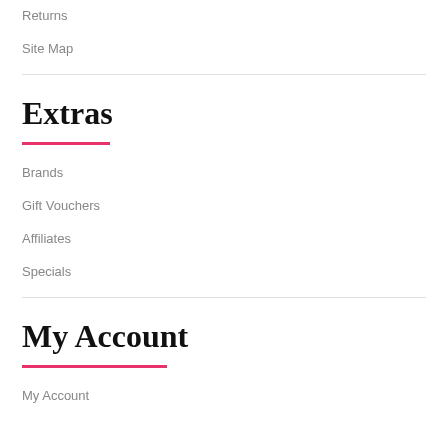Returns
Site Map
Extras
Brands
Gift Vouchers
Affiliates
Specials
My Account
My Account